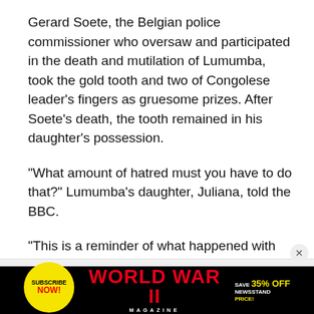Gerard Soete, the Belgian police commissioner who oversaw and participated in the death and mutilation of Lumumba, took the gold tooth and two of Congolese leader's fingers as gruesome prizes. After Soete's death, the tooth remained in his daughter's possession.
“What amount of hatred must you have to do that?” Lumumba’s daughter, Juliana, told the BBC.
“This is a reminder of what happened with the Nazis, taking pieces of people — and that’s a crime against humanity,” she continued.
[Figure (other): Advertisement banner for World War II Magazine: yellow circular Subscribe Now badge on left, red WORLD WAR II magazine title in center, Save 35% Off Newsstand Price text on right, black background]